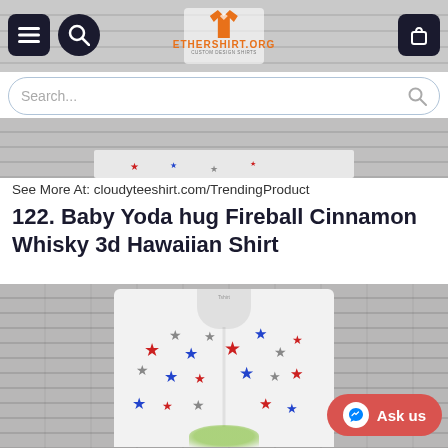[Figure (screenshot): Website header with hamburger menu button, search icon button, ethershirt.org logo with orange t-shirt icon, and shopping cart button on dark rounded buttons]
[Figure (screenshot): Search bar with placeholder text 'Search...' and search icon, with rounded border]
[Figure (photo): Top portion of product image showing bottom edge of a shirt displayed against a gray brick wall background]
See More At: cloudyteeshirt.com/TrendingProduct
122. Baby Yoda hug Fireball Cinnamon Whisky 3d Hawaiian Shirt
[Figure (photo): Hawaiian shirt with white fabric covered in red, blue, and gray stars displayed on a mannequin/hanger against gray brick wall background, with Baby Yoda graphic visible at bottom. An 'Ask us' messenger button is overlaid in bottom right corner.]